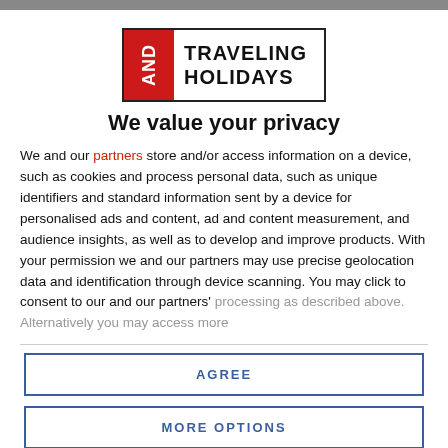[Figure (logo): AND TRAVELING HOLIDAYS logo with red box on left containing AND text and black bordered rectangle with company name]
We value your privacy
We and our partners store and/or access information on a device, such as cookies and process personal data, such as unique identifiers and standard information sent by a device for personalised ads and content, ad and content measurement, and audience insights, as well as to develop and improve products. With your permission we and our partners may use precise geolocation data and identification through device scanning. You may click to consent to our and our partners' processing as described above. Alternatively you may access more
AGREE
MORE OPTIONS
Africa